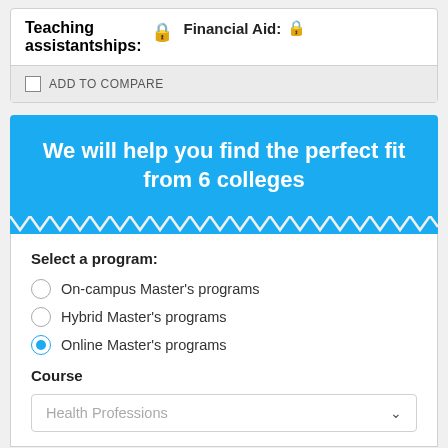Teaching assistantships:
Financial Aid:
ADD TO COMPARE
We will help you find the perfect fit from 6 colleges
Select a program:
On-campus Master's programs
Hybrid Master's programs
Online Master's programs
Course
Health Professions